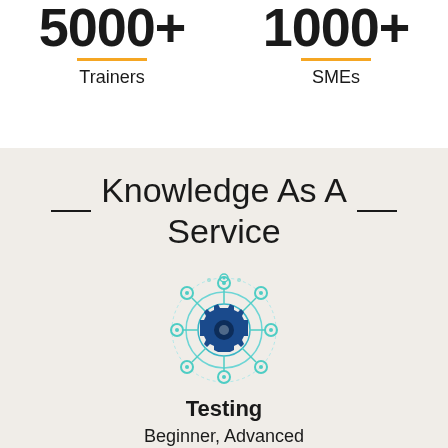5000+ Trainers
1000+ SMEs
Knowledge As A Service
[Figure (illustration): Gear/cog icon with connected nodes and circular rings, representing a service or integration concept, in teal and dark blue colors]
Testing
Beginner, Advanced